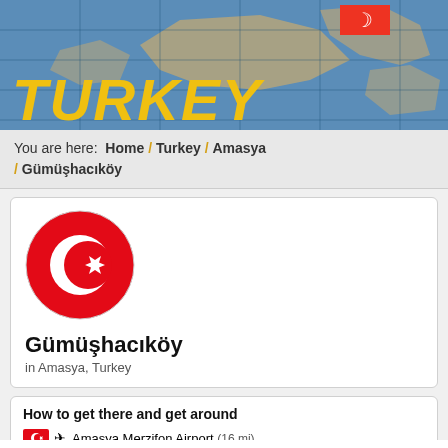TURKEY
You are here: Home / Turkey / Amasya / Gümüşhacıköy
[Figure (illustration): Turkish flag circular icon with red background, white crescent moon and star]
Gümüşhacıköy
in Amasya, Turkey
How to get there and get around
Amasya Merzifon Airport (16 mi)
Samsun Samair Airport (63 mi)
Tokat Airport (72 mi)
Samsun Çarşamba Airport (75 mi)